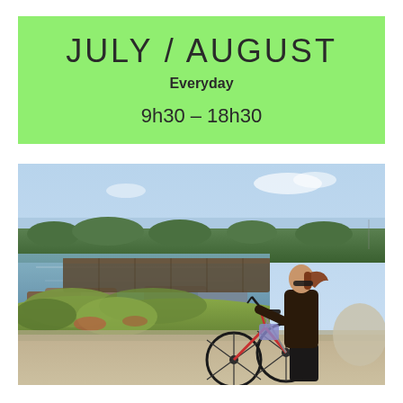JULY / AUGUST
Everyday
9h30 – 18h30
[Figure (photo): A woman in a dark jacket and sunglasses stands with a bicycle on a waterfront path, looking out over a marina with boats and dock, green vegetation in the foreground, and a blue sky horizon in the background.]